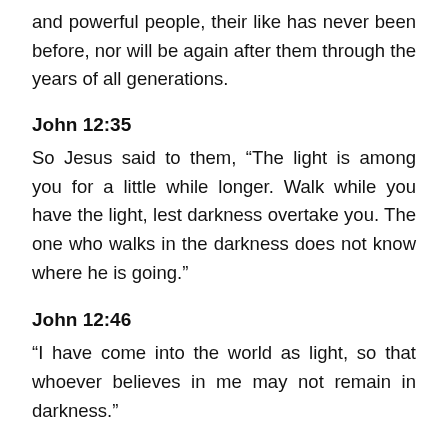and powerful people, their like has never been before, nor will be again after them through the years of all generations.
John 12:35
So Jesus said to them, “The light is among you for a little while longer. Walk while you have the light, lest darkness overtake you. The one who walks in the darkness does not know where he is going.”
John 12:46
“I have come into the world as light, so that whoever believes in me may not remain in darkness.”